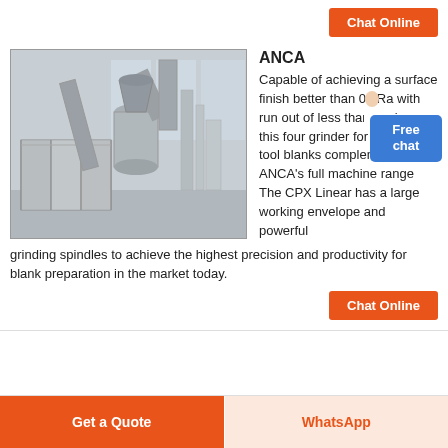Chat Online
[Figure (photo): Industrial grinding/milling machine in a large factory floor, showing cylindrical hoppers, ducts, and cabinet-style enclosures. The machinery is grey/white and positioned in a bright, high-ceilinged industrial space.]
ANCA
Capable of achieving a surface finish better than 0.2Ra with run out of less than 2 microns this four grinder for grinding tool blanks complements ANCA's full machine range The CPX Linear has a large working envelope and powerful grinding spindles to achieve the highest precision and productivity for blank preparation in the market today.
Chat Online
Get a Quote
WhatsApp